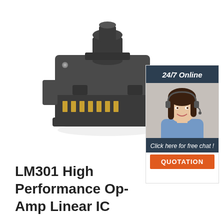[Figure (photo): Black multi-pin electrical connector (trailer plug) with gold-colored pins, shown at an angle on white background]
[Figure (photo): Advertisement banner: '24/7 Online' header in dark blue, photo of smiling woman with headset, 'Click here for free chat!' text, orange QUOTATION button]
LM301 High Performance Op-Amp Linear IC